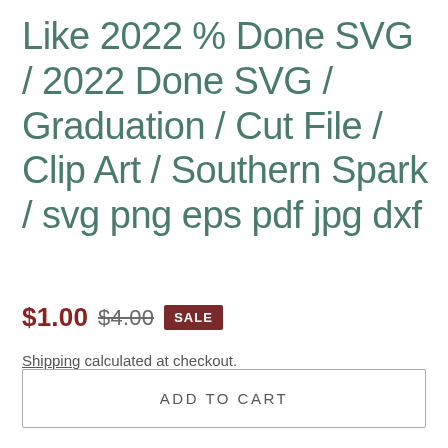Like 2022 % Done SVG / 2022 Done SVG / Graduation / Cut File / Clip Art / Southern Spark / svg png eps pdf jpg dxf
$1.00  $4.00  SALE
Shipping calculated at checkout.
ADD TO CART